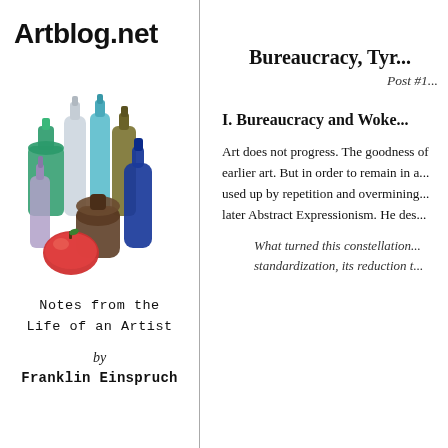Artblog.net
[Figure (illustration): Watercolor painting of colorful bottles and an apple arranged as a still life]
Notes from the
Life of an Artist
by
Franklin Einspruch
Bureaucracy, Tyr...
Post #1...
I. Bureaucracy and Woke...
Art does not progress. The goodness of earlier art. But in order to remain in a... used up by repetition and overmining... later Abstract Expressionism. He des...
What turned this constellation... standardization, its reduction t...